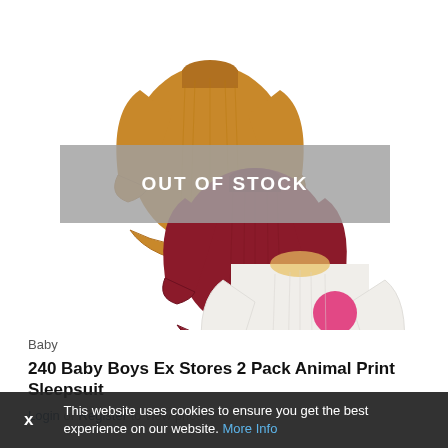[Figure (photo): Three children's long-sleeve tops overlapping: a mustard/golden yellow top, a dark red/maroon top, and a white/cream top with a pink circular badge. The image has an 'OUT OF STOCK' gray overlay banner across the middle.]
Baby
240 Baby Boys Ex Stores 2 Pack Animal Print Sleepsuit
Login or Register to view price!
This website uses cookies to ensure you get the best experience on our website. More Info